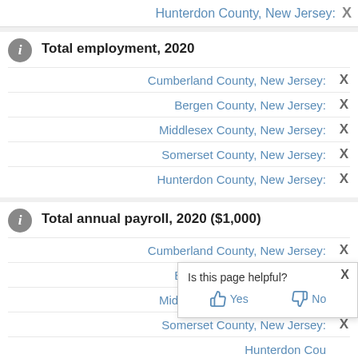Hunterdon County, New Jersey: X
Total employment, 2020
Cumberland County, New Jersey: X
Bergen County, New Jersey: X
Middlesex County, New Jersey: X
Somerset County, New Jersey: X
Hunterdon County, New Jersey: X
Total annual payroll, 2020 ($1,000)
Cumberland County, New Jersey: X
Bergen County, New Jersey: X
Middlesex County, New Jersey: X
Somerset County, New Jersey: X
Hunterdon County, New Jersey: X (partially visible)
Is this page helpful? Yes No
Total employment, percent ch...